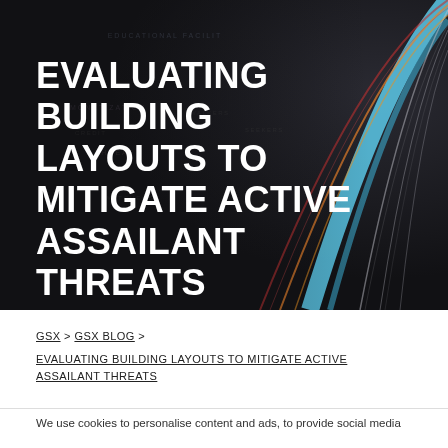[Figure (illustration): Dark background with network/data visualization showing colored lines (blue, orange, red, white) radiating in an arc with overlaid text labels like EDUCATIONAL FACILITIES, MONETIZATION, THREAT, WATCHERS in dim text on a dark background]
EVALUATING BUILDING LAYOUTS TO MITIGATE ACTIVE ASSAILANT THREATS
GSX > GSX BLOG > EVALUATING BUILDING LAYOUTS TO MITIGATE ACTIVE ASSAILANT THREATS
We use cookies to personalise content and ads, to provide social media